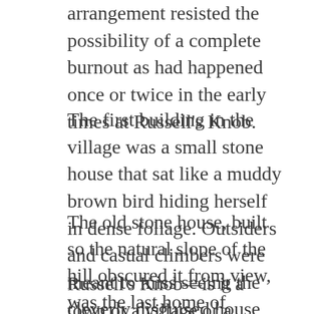arrangement resisted the possibility of a complete burnout as had happened once or twice in the early times at Russell's Knob.
The first building in the village was a small stone house that sat like a muddy brown bird hiding herself in dense foliage. Outsiders and casual climbers were meant to miss seeing the cleverly disguised house and the cut that led to the town. If you knew the cuts you could find the town.
The old stone house, built so the natural slope of the hill obscured it from view, was the last home of Russell Sitton, the village's founder. Old Ninevah Van Waganen, a great-granddaughter of Russell Sitton, lived there and kept a signal fire.
Russell's Knob—is it a town or a village or a country all to itself? Who is to say? They are what they have always been. They are refuge from bondage. Who can say what made them so still to say…